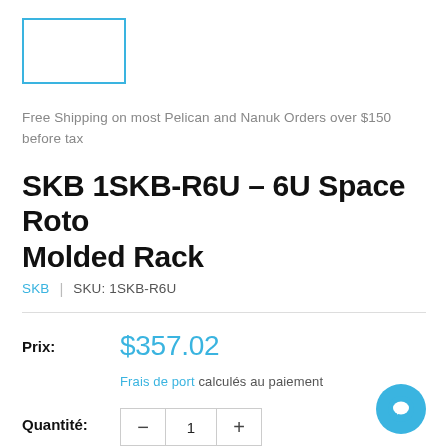[Figure (other): Brand logo placeholder box with cyan/blue border]
Free Shipping on most Pelican and Nanuk Orders over $150 before tax
SKB 1SKB-R6U - 6U Space Roto Molded Rack
SKB | SKU: 1SKB-R6U
Prix: $357.02
Frais de port calculés au paiement
Quantité: 1